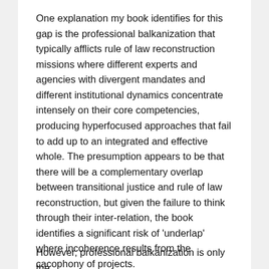One explanation my book identifies for this gap is the professional balkanization that typically afflicts rule of law reconstruction missions where different experts and agencies with divergent mandates and different institutional dynamics concentrate intensely on their core competencies, producing hyperfocused approaches that fail to add up to an integrated and effective whole. The presumption appears to be that there will be a complementary overlap between transitional justice and rule of law reconstruction, but given the failure to think through their inter-relation, the book identifies a significant risk of 'underlap' where incoherence results from the cacophony of projects.
However, professional balkanization is only the